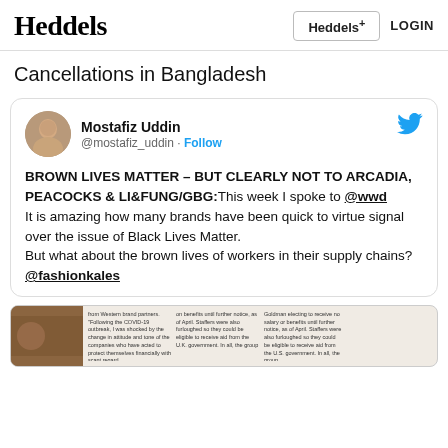Heddels   Heddels+   LOGIN
Cancellations in Bangladesh
[Figure (screenshot): Embedded tweet from @mostafiz_uddin. Text: BROWN LIVES MATTER – BUT CLEARLY NOT TO ARCADIA, PEACOCKS & LI&FUNG/GBG:This week I spoke to @wwd It is amazing how many brands have been quick to virtue signal over the issue of Black Lives Matter. But what about the brown lives of workers in their supply chains? @fashionkales]
[Figure (screenshot): Partial article preview image at bottom of page with small text columns]